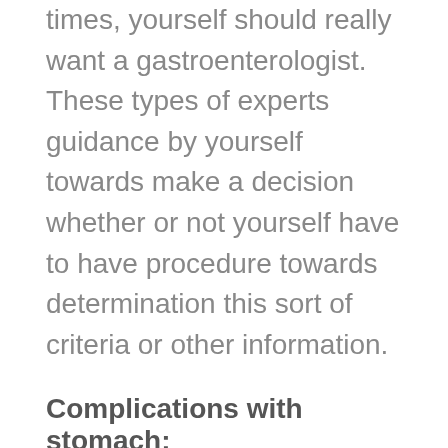times, yourself should really want a gastroenterologist. These types of experts guidance by yourself towards make a decision whether or not yourself have to have procedure towards determination this sort of criteria or other information.
Complications with stomach:
We all realize that bellyaches or belly agony are the greatest preferred challenges. Yet neglecting it for a very long period can let yourself toward offer with extraordinary exercise difficulties. Of